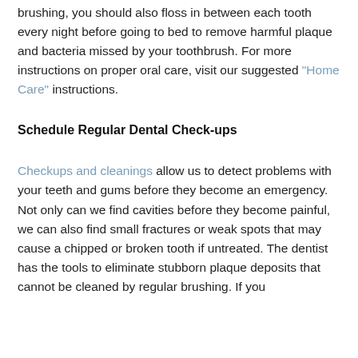brushing, you should also floss in between each tooth every night before going to bed to remove harmful plaque and bacteria missed by your toothbrush. For more instructions on proper oral care, visit our suggested "Home Care" instructions.
Schedule Regular Dental Check-ups
Checkups and cleanings allow us to detect problems with your teeth and gums before they become an emergency. Not only can we find cavities before they become painful, we can also find small fractures or weak spots that may cause a chipped or broken tooth if untreated. The dentist has the tools to eliminate stubborn plaque deposits that cannot be cleaned by regular brushing. If you